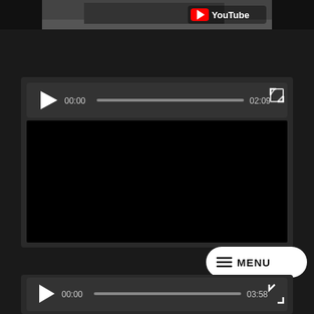[Figure (screenshot): Top portion of a YouTube video player showing a car on a road with YouTube logo watermark in top-right corner, partially cut off at top of page]
[Figure (screenshot): Dark video player with playback controls showing play button, timestamp 00:00, progress bar, end time 02:09, and fullscreen button]
[Figure (screenshot): Partial view of another dark video player with playback controls showing play button, timestamp 00:00, progress bar, end time 03:58, and fullscreen button. A white MENU button overlay appears in top-right area.]